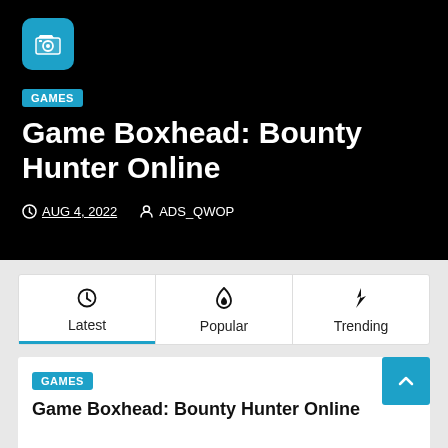[Figure (screenshot): Black hero banner with camera icon, GAMES badge, article title, date and author meta]
Game Boxhead: Bounty Hunter Online
AUG 4, 2022  ADS_QWOP
Latest  Popular  Trending
GAMES
Game Boxhead: Bounty Hunter Online